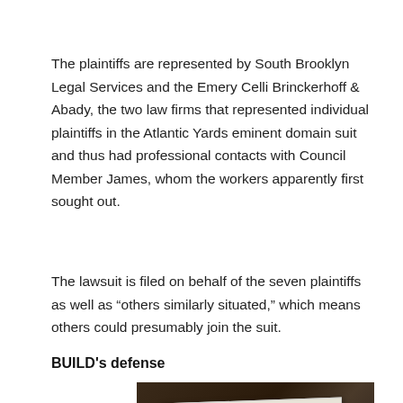The plaintiffs are represented by South Brooklyn Legal Services and the Emery Celli Brinckerhoff & Abady, the two law firms that represented individual plaintiffs in the Atlantic Yards eminent domain suit and thus had professional contacts with Council Member James, whom the workers apparently first sought out.
The lawsuit is filed on behalf of the seven plaintiffs as well as “others similarly situated,” which means others could presumably join the suit.
BUILD's defense
[Figure (photo): A photograph showing a handwritten sign on white paper with the text 'Please' and what appears to be additional text, with '"1/5/"' written in the upper right, set against a dark background with a building silhouette visible.]